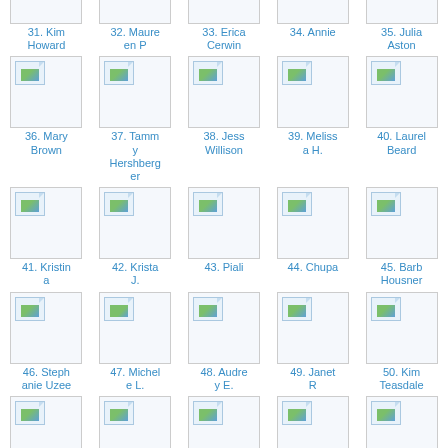[Figure (other): Grid of user profile thumbnails numbered 31-55, showing placeholder document/image icons with names below each]
31. Kim Howard
32. Maureen P
33. Erica Cerwin
34. Annie
35. Julia Aston
36. Mary Brown
37. Tammy Hershberger
38. Jess Willison
39. Melissa H.
40. Laurel Beard
41. Kristina
42. Krista J.
43. Piali
44. Chupa
45. Barb Housner
46. Stephanie Uzee
47. Michele L.
48. Audrey E.
49. Janet R
50. Kim Teasdale